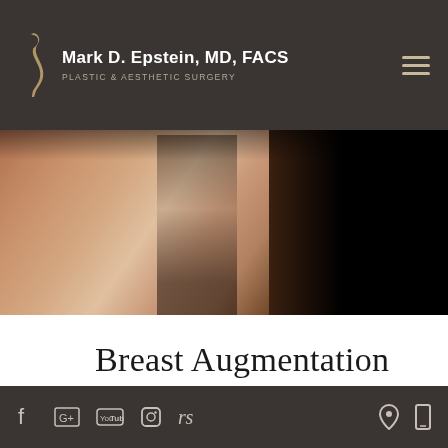Mark D. Epstein, MD, FACS — Plastic & Aesthetic Surgery
[Figure (photo): Close-up photo of female torso/chest in a black bra or lingerie on a dark background, used as hero image for a plastic surgery website.]
Breast Augmentation
[Figure (screenshot): Thumbnail strip showing two video thumbnails of the Mark D. Epstein MD FACS practice, side by side with play buttons.]
Social media icons: Facebook, Google, YouTube, Instagram, RealSelf; location and mobile icons